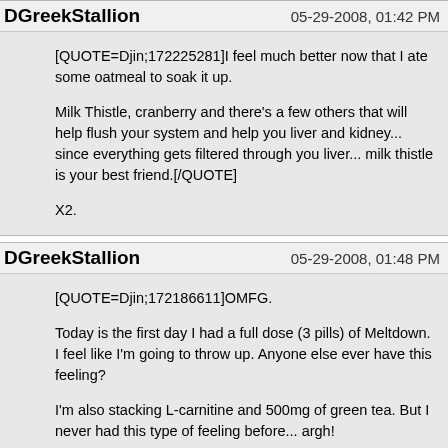DGreekStallion   05-29-2008, 01:42 PM
[QUOTE=Djin;172225281]I feel much better now that I ate some oatmeal to soak it up.

Milk Thistle, cranberry and there's a few others that will help flush your system and help you liver and kidney... since everything gets filtered through you liver... milk thistle is your best friend.[/QUOTE]

X2.
DGreekStallion   05-29-2008, 01:48 PM
[QUOTE=Djin;172186611]OMFG.

Today is the first day I had a full dose (3 pills) of Meltdown. I feel like I'm going to throw up. Anyone else ever have this feeling?

I'm also stacking L-carnitine and 500mg of green tea. But I never had this type of feeling before... argh!